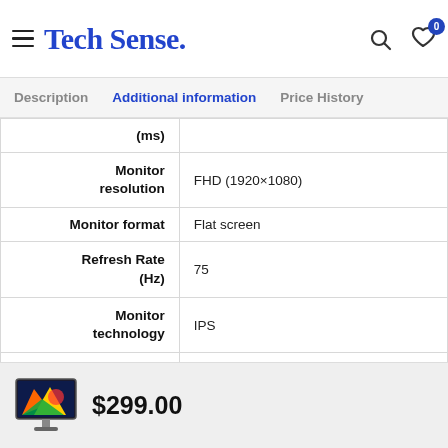Tech Sense.
Description   Additional information   Price History
| Attribute | Value |
| --- | --- |
| (ms) |  |
| Monitor resolution | FHD (1920×1080) |
| Monitor format | Flat screen |
| Refresh Rate (Hz) | 75 |
| Monitor technology | IPS |
| Monitor sync technology | FreeSync |
| Screen Size | 27 Inch |
$299.00